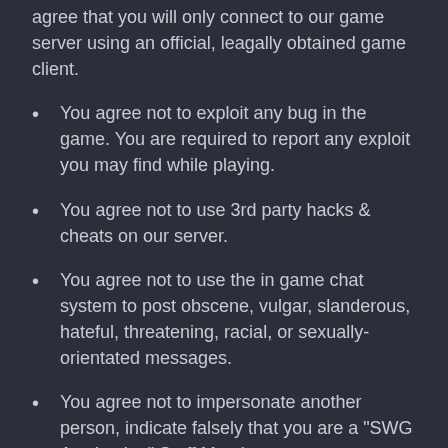agree that you will only connect to our game server using an official, leagally obtained game client.
You agree not to exploit any bug in the game. You are required to report any exploit you may find while playing.
You agree not to use 3rd party hacks & cheats on our server.
You agree not to use the in game chat system to post obscene, vulgar, slanderous, hateful, threatening, racial, or sexually-orientated messages.
You agree not to impersonate another person, indicate falsely that you are a "SWG Awakening" Staff Member or a representative of any other community.
You agree not to spam messages in the in game chat system. Spam messages are defined as a message that is repeated more than once in a 30 minute period.